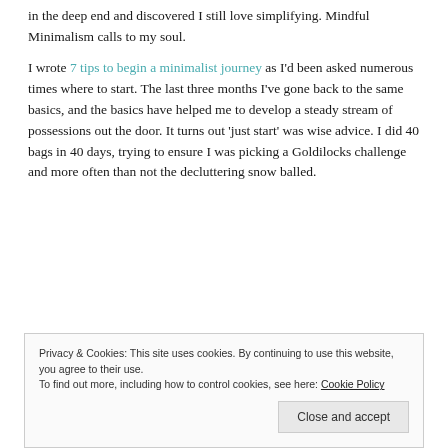in the deep end and discovered I still love simplifying. Mindful Minimalism calls to my soul.
I wrote 7 tips to begin a minimalist journey as I'd been asked numerous times where to start. The last three months I've gone back to the same basics, and the basics have helped me to develop a steady stream of possessions out the door. It turns out 'just start' was wise advice. I did 40 bags in 40 days, trying to ensure I was picking a Goldilocks challenge and more often than not the decluttering snow balled.
Privacy & Cookies: This site uses cookies. By continuing to use this website, you agree to their use.
To find out more, including how to control cookies, see here: Cookie Policy
Close and accept